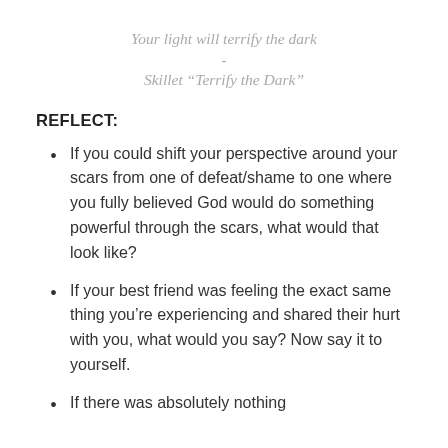Your light will terrify the dark
-
Skillet “Terrify the Dark”
REFLECT:
If you could shift your perspective around your scars from one of defeat/shame to one where you fully believed God would do something powerful through the scars, what would that look like?
If your best friend was feeling the exact same thing you’re experiencing and shared their hurt with you, what would you say? Now say it to yourself.
If there was absolutely nothing